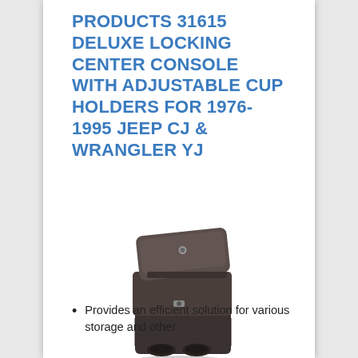PRODUCTS 31615 DELUXE LOCKING CENTER CONSOLE WITH ADJUSTABLE CUP HOLDERS FOR 1976-1995 JEEP CJ & WRANGLER YJ
[Figure (photo): A dark brown/black center console with locking lid and two cup holders at the front, shown at an angle.]
Provides an efficient solution for various storage and other